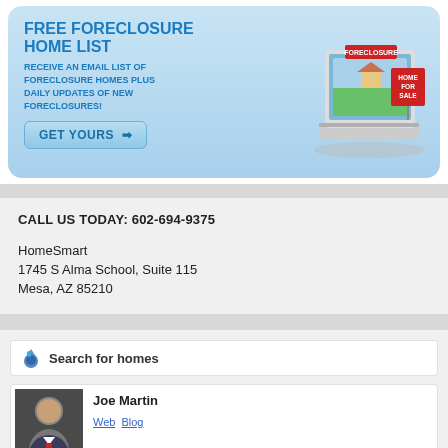[Figure (infographic): Free Foreclosure Home List advertisement banner with light blue gradient background, showing a laptop with a Home For Sale sign image, a 'GET YOURS' button with arrow, and text about receiving email list of foreclosure homes.]
CALL US TODAY: 602-694-9375
HomeSmart
1745 S Alma School, Suite 115
Mesa, AZ 85210
[Figure (infographic): Search for homes widget header with bird/logo icon and title text 'Search for homes', followed by agent card showing Joe Martin with photo and Web/Blog links.]